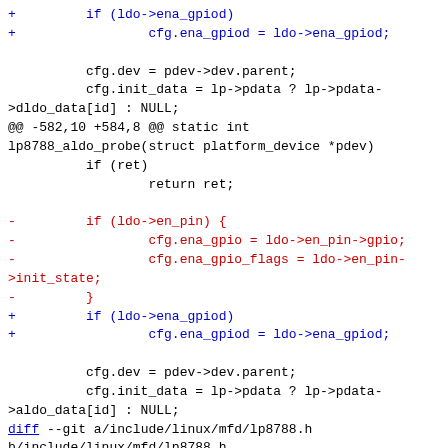Code diff showing changes to lp8788 driver files including added ena_gpiod support and removal of en_pin/ena_gpio handling, plus diff header for lp8788.h